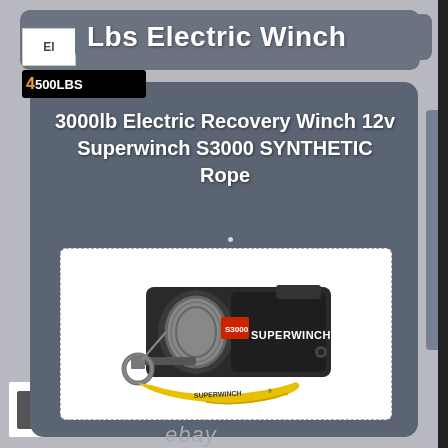Lbs Electric Winch
4500LBS
3000lb Electric Recovery Winch 12v Superwinch S3000 SYNTHETIC Rope
[Figure (photo): Photo of a Superwinch S3000 electric winch with synthetic rope, showing the black winch body with S3000 logo, cable drum, hook, and yellow Superwinch strap accessory.]
ebay